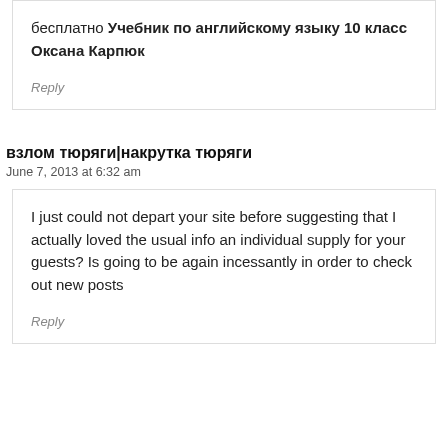бесплатно&nbsp;Учебник по английскому языку 10 класс Оксана Карпюк
Reply
взлом тюряги|накрутка тюряги
June 7, 2013 at 6:32 am
I just could not depart your site before suggesting that I actually loved the usual info an individual supply for your guests? Is going to be again incessantly in order to check out new posts
Reply